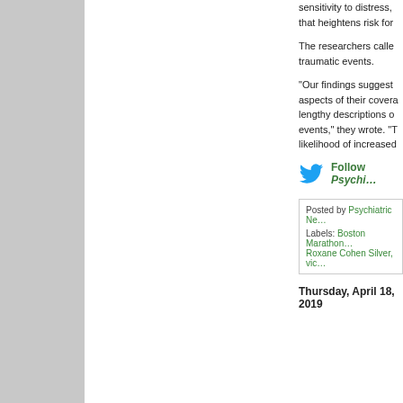sensitivity to distress, that heightens risk for
The researchers called traumatic events.
“Our findings suggest aspects of their coverage lengthy descriptions of events,” they wrote. “T likelihood of increased
[Figure (logo): Twitter bird icon in blue]
Follow Psychi…
Posted by Psychiatric Ne…
Labels: Boston Marathon… Roxane Cohen Silver, vic…
Thursday, April 18, 2019